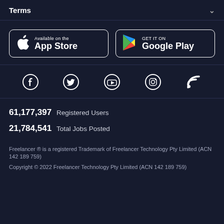Terms
[Figure (screenshot): App Store and Google Play download buttons]
[Figure (infographic): Social media icons: Facebook, Twitter, YouTube, Instagram, RSS]
61,177,397  Registered Users
21,784,541  Total Jobs Posted
Freelancer ® is a registered Trademark of Freelancer Technology Pty Limited (ACN 142 189 759)
Copyright © 2022 Freelancer Technology Pty Limited (ACN 142 189 759)